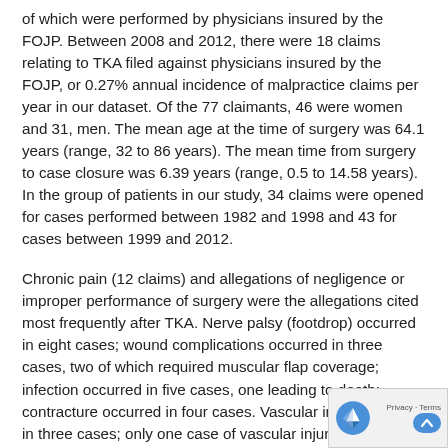of which were performed by physicians insured by the FOJP. Between 2008 and 2012, there were 18 claims relating to TKA filed against physicians insured by the FOJP, or 0.27% annual incidence of malpractice claims per year in our dataset. Of the 77 claimants, 46 were women and 31, men. The mean age at the time of surgery was 64.1 years (range, 32 to 86 years). The mean time from surgery to case closure was 6.39 years (range, 0.5 to 14.58 years). In the group of patients in our study, 34 claims were opened for cases performed between 1982 and 1998 and 43 for cases between 1999 and 2012.
Chronic pain (12 claims) and allegations of negligence or improper performance of surgery were the allegations cited most frequently after TKA. Nerve palsy (footdrop) occurred in eight cases; wound complications occurred in three cases, two of which required muscular flap coverage; infection occurred in five cases, one leading to death; contracture occurred in four cases. Vascular injury occurred in three cases; only one case of vascular injury resulted in amputation, but that case consisted of bilateral TKAs that resulted in bilateral vascular injuries and amputations—one above-knee and one below-knee amputation. Deep vein thrombosis or pulmonary embolism occurred in three cases, with two resulting deaths. One
[Figure (other): reCAPTCHA Privacy/Terms overlay widget in bottom-right corner]